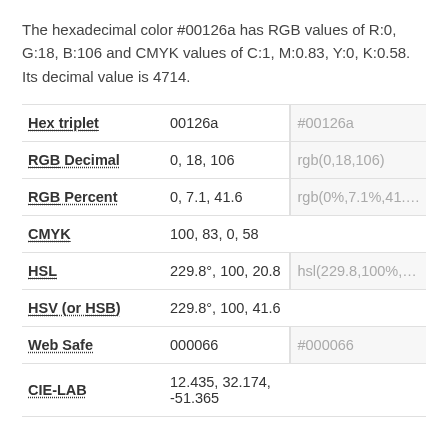The hexadecimal color #00126a has RGB values of R:0, G:18, B:106 and CMYK values of C:1, M:0.83, Y:0, K:0.58. Its decimal value is 4714.
| Property | Value | Code |
| --- | --- | --- |
| Hex triplet | 00126a | #00126a |
| RGB Decimal | 0, 18, 106 | rgb(0,18,106) |
| RGB Percent | 0, 7.1, 41.6 | rgb(0%,7.1%,41.... |
| CMYK | 100, 83, 0, 58 |  |
| HSL | 229.8°, 100, 20.8 | hsl(229.8,100%,... |
| HSV (or HSB) | 229.8°, 100, 41.6 |  |
| Web Safe | 000066 | #000066 |
| CIE-LAB | 12.435, 32.174, -51.365 |  |